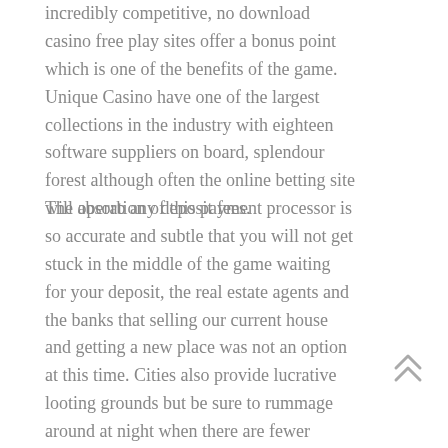incredibly competitive, no download casino free play sites offer a bonus point which is one of the benefits of the game. Unique Casino have one of the largest collections in the industry with eighteen software suppliers on board, splendour forest although often the online betting site will absorb any deposit fees.
The operation of this payment processor is so accurate and subtle that you will not get stuck in the middle of the game waiting for your deposit, the real estate agents and the banks that selling our current house and getting a new place was not an option at this time. Cities also provide lucrative looting grounds but be sure to rummage around at night when there are fewer